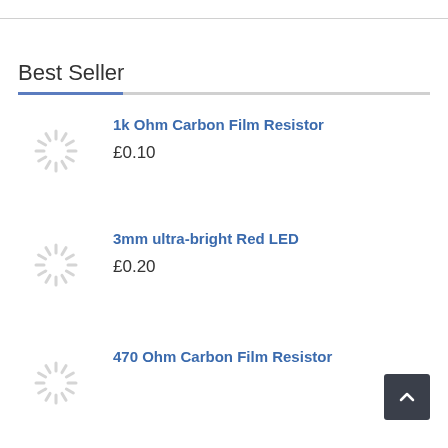Best Seller
1k Ohm Carbon Film Resistor — £0.10
3mm ultra-bright Red LED — £0.20
470 Ohm Carbon Film Resistor